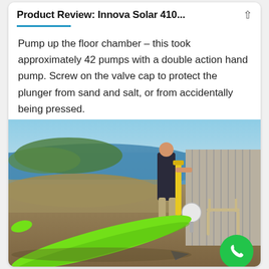Product Review: Innova Solar 410...
Pump up the floor chamber – this took approximately 42 pumps with a double action hand pump. Screw on the valve cap to protect the plunger from sand and salt, or from accidentally being pressed.
[Figure (photo): Photo of a green inflatable kayak lying on a sandy/rocky shore near a lake or bay. A person is standing behind it using a yellow hand pump to inflate it. There are outdoor chairs and a building in the background. A green phone call button is overlaid in the bottom right corner.]